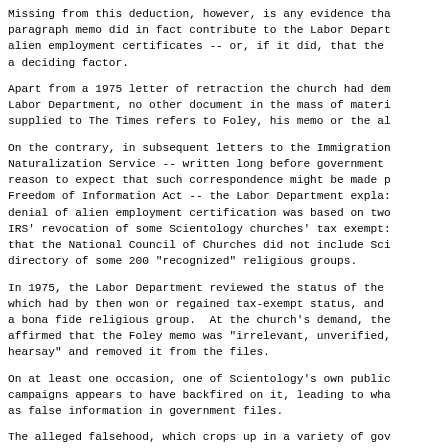Missing from this deduction, however, is any evidence that the paragraph memo did in fact contribute to the Labor Department's denial of alien employment certificates -- or, if it did, that the memo was a deciding factor.
Apart from a 1975 letter of retraction the church had demanded from the Labor Department, no other document in the mass of material supplied to The Times refers to Foley, his memo or the alien certificates.
On the contrary, in subsequent letters to the Immigration and Naturalization Service -- written long before government officials had reason to expect that such correspondence might be made public under the Freedom of Information Act -- the Labor Department explained that its denial of alien employment certification was based on two grounds: the IRS' revocation of some Scientology churches' tax exemptions, and the fact that the National Council of Churches did not include Scientology in its directory of some 200 "recognized" religious groups.
In 1975, the Labor Department reviewed the status of the church, which had by then won or regained tax-exempt status, and recognized it as a bona fide religious group.  At the church's demand, the department affirmed that the Foley memo was "irrelevant, unverified, and rank hearsay" and removed it from the files.
On at least one occasion, one of Scientology's own public-relations campaigns appears to have backfired on it, leading to what it now claims as false information in government files.
The alleged falsehood, which crops up in a variety of government files in the 1960s, is that Scientology involves the study of a textbook on brainwashing."